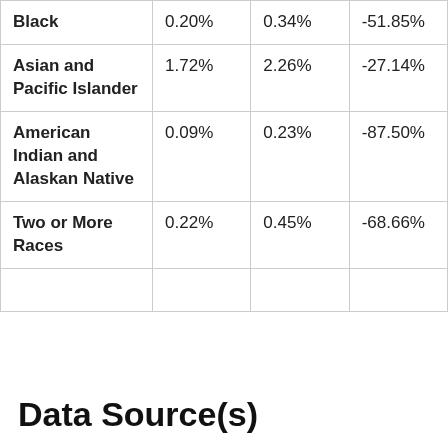| Black | 0.20% | 0.34% | -51.85% |
| Asian and Pacific Islander | 1.72% | 2.26% | -27.14% |
| American Indian and Alaskan Native | 0.09% | 0.23% | -87.50% |
| Two or More Races | 0.22% | 0.45% | -68.66% |
|  |  |  |  |
Data Source(s)